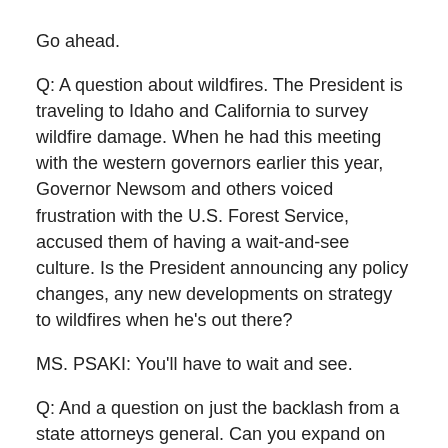Go ahead.
Q: A question about wildfires. The President is traveling to Idaho and California to survey wildfire damage. When he had this meeting with the western governors earlier this year, Governor Newsom and others voiced frustration with the U.S. Forest Service, accused them of having a wait-and-see culture. Is the President announcing any policy changes, any new developments on strategy to wildfires when he's out there?
MS. PSAKI: You'll have to wait and see.
Q: And a question on just the backlash from a state attorneys general. Can you expand on why the 1970 law does cover specifically these requirements for businesses?
MS. PSAKI: Sure. Let me try it again. So, the 1970 law, which has now been in place -- to do the math for all of you -- for 51 years -- it's a law that requi- -- let me to give you the exact statement of it here.
It requires the Department of Labor to take action when it